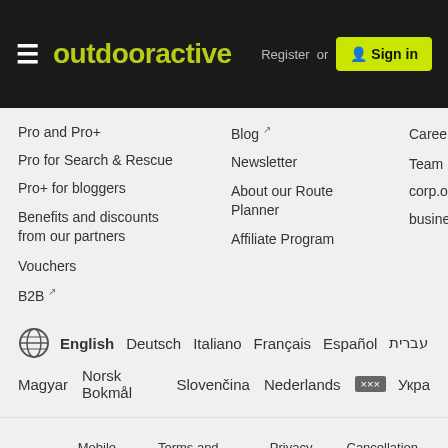outdooractive  Register or  Sign in
Pro and Pro+
Pro for Search & Rescue
Pro+ for bloggers
Benefits and discounts from our partners
Vouchers
B2B ↗
Blog ↗
Newsletter
About our Route Planner
Affiliate Program
Careers ↗
Team ↗
corp.outdo…
business.o…
English  Deutsch  Italiano  Français  Español  עברית  Magyar  Norsk Bokmål  Slovenčina  Nederlands  ··· Укра
Sitemap  Mobile version  Terms and conditions  Privacy policy  Cancellation po…